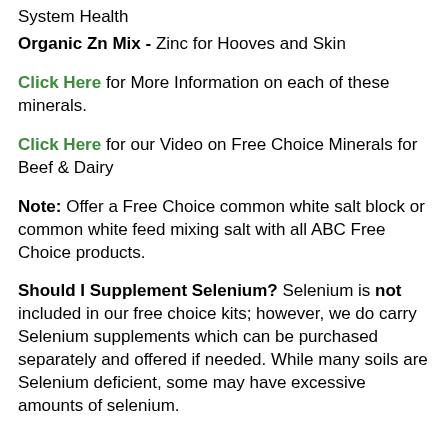System Health
Organic Zn Mix - Zinc for Hooves and Skin
Click Here for More Information on each of these minerals.
Click Here for our Video on Free Choice Minerals for Beef & Dairy
Note: Offer a Free Choice common white salt block or common white feed mixing salt with all ABC Free Choice products.
Should I Supplement Selenium? Selenium is not included in our free choice kits; however, we do carry Selenium supplements which can be purchased separately and offered if needed. While many soils are Selenium deficient, some may have excessive amounts of selenium.